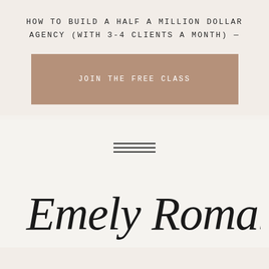HOW TO BUILD A HALF A MILLION DOLLAR AGENCY (WITH 3-4 CLIENTS A MONTH) —
[Figure (other): Tan/brown rectangular CTA button with text 'JOIN THE FREE CLASS' in white spaced lettering]
[Figure (other): Three horizontal parallel lines forming a decorative divider / hamburger menu icon]
[Figure (other): Cursive handwritten signature reading 'Emely Roman' in dark ink on light background]